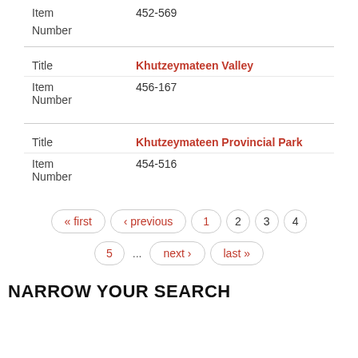Item Number: 452-569
| Field | Value |
| --- | --- |
| Title | Khutzeymateen Valley |
| Item Number | 456-167 |
| Field | Value |
| --- | --- |
| Title | Khutzeymateen Provincial Park |
| Item Number | 454-516 |
« first
‹ previous
1
2
3
4
5
...
next ›
last »
NARROW YOUR SEARCH